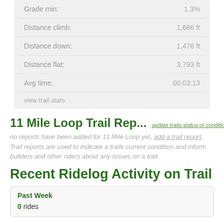| Stat | Value |
| --- | --- |
| Grade min: | 1.3% |
| Distance climb: | 1,686 ft |
| Distance down: | 1,476 ft |
| Distance flat: | 3,793 ft |
| Avg time: | 00:03:13 |
view trail stats
11 Mile Loop Trail Rep...
update trails status or condition
no reports have been added for 11 Mile Loop yet, add a trail report. Trail reports are used to indicate a trails current condition and inform builders and other riders about any issues on a trail.
Recent Ridelog Activity on Trail
Past Week
0 rides